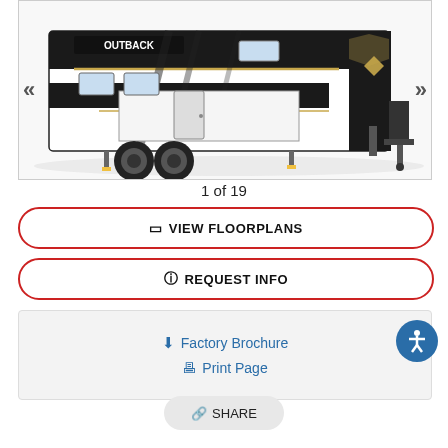[Figure (photo): Side view of a Keystone Outback travel trailer RV, black and white exterior with gold accents and OUTBACK branding on the front cap. Navigation arrows (« and ») on left and right sides.]
1 of 19
🖥 VIEW FLOORPLANS
ℹ REQUEST INFO
⬇ Factory Brochure
🖨 Print Page
↗ SHARE